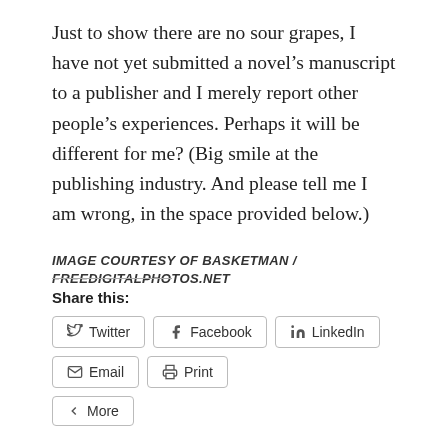Just to show there are no sour grapes, I have not yet submitted a novel’s manuscript to a publisher and I merely report other people’s experiences. Perhaps it will be different for me? (Big smile at the publishing industry. And please tell me I am wrong, in the space provided below.)
IMAGE COURTESY OF BASKETMAN / FREEDIGITALPHOTOS.NET
Share this:
Twitter  Facebook  LinkedIn  Email  Print  More